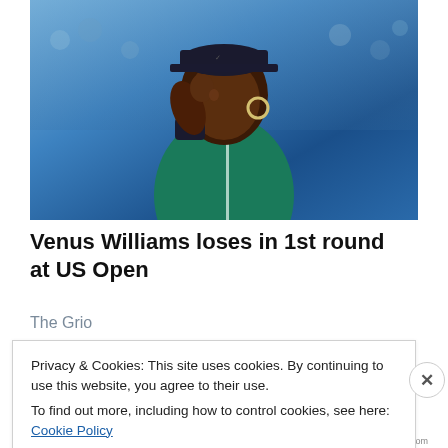[Figure (photo): Venus Williams, a Black female tennis player, wearing a teal/green sleeveless top and dark navy visor and wristband, resting her hand near her face in a thoughtful or concerned pose, with a blurred crowd and blue court background.]
Venus Williams loses in 1st round at US Open
The Grio
Privacy & Cookies: This site uses cookies. By continuing to use this website, you agree to their use.
To find out more, including how to control cookies, see here: Cookie Policy
Close and accept